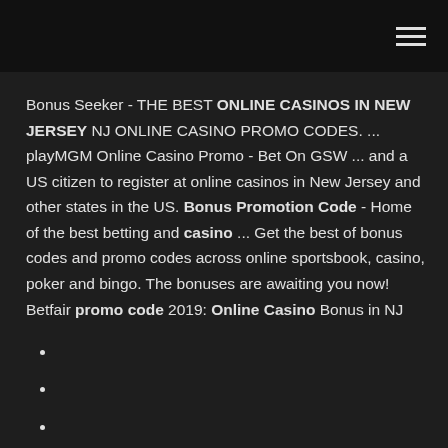hamburger menu icon
Bonus Seeker - THE BEST ONLINE CASINOS IN NEW JERSEY NJ ONLINE CASINO PROMO CODES. ... playMGM Online Casino Promo - Bet On GSW ... and a US citizen to register at online casinos in New Jersey and other states in the US. Bonus Promotion Code - Home of the best betting and casino ... Get the best of bonus codes and promo codes across online sportsbook, casino, poker and bingo. The bonuses are awaiting you now! Betfair promo code 2019: Online Casino Bonus in NJ